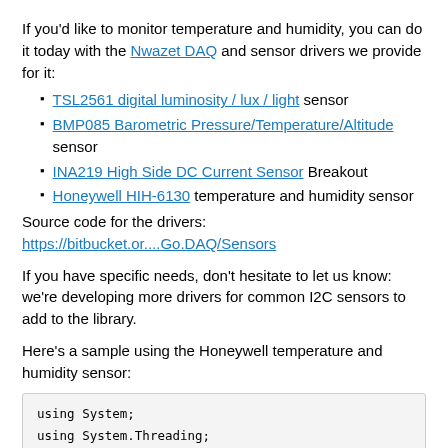If you'd like to monitor temperature and humidity, you can do it today with the Nwazet DAQ and sensor drivers we provide for it:
TSL2561 digital luminosity / lux / light sensor
BMP085 Barometric Pressure/Temperature/Altitude sensor
INA219 High Side DC Current Sensor Breakout
Honeywell HIH-6130 temperature and humidity sensor
Source code for the drivers: https://bitbucket.or....Go.DAQ/Sensors
If you have specific needs, don't hesitate to let us know: we're developing more drivers for common I2C sensors to add to the library.
Here's a sample using the Honeywell temperature and humidity sensor:
[Figure (screenshot): Code block showing C# using statements and namespace/class declaration: using System; using System.Threading; using Microsoft.SPOT; using Microsoft.SPOT.Hardware; using SecretLabs.NETMF.Hardware.NetduinoGo; using Nwazet.Go.DAQ; using Honeywell; namespace Tutorials { public class I2cCommunications {]